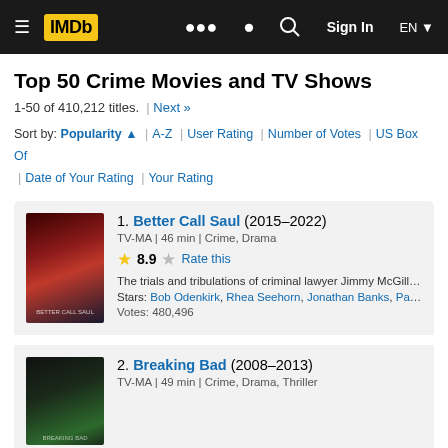IMDb navigation bar with logo, search, Sign In, EN
Top 50 Crime Movies and TV Shows
1-50 of 410,212 titles. | Next »
Sort by: Popularity ▲ | A-Z | User Rating | Number of Votes | US Box Of… | Date of Your Rating | Your Rating
1. Better Call Saul (2015–2022) TV-MA | 46 min | Crime, Drama — Rating: 8.9 — The trials and tribulations of criminal lawyer Jimmy McGill before and Jesse Pinkman. Stars: Bob Odenkirk, Rhea Seehorn, Jonathan Banks, Patrick F… Votes: 480,496
2. Breaking Bad (2008–2013) TV-MA | 49 min | Crime, Drama, Thriller